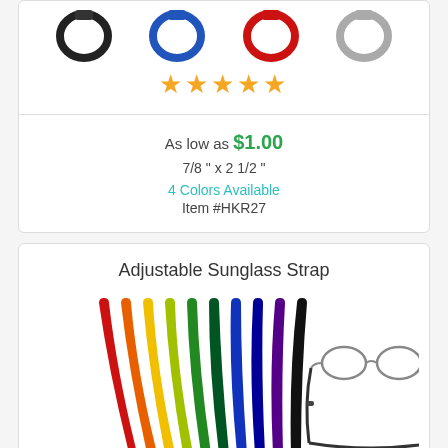[Figure (photo): Product images showing four colored key rings/badge holders in black, blue, red, and gray]
[Figure (other): Five gold star rating icons]
As low as $1.00
7/8 " x 2 1/2 "
4 Colors Available
Item #HKR27
Adjustable Sunglass Strap
[Figure (photo): Multiple colorful adjustable sunglass straps in rainbow colors fanned out, with a separate black strap shown on glasses]